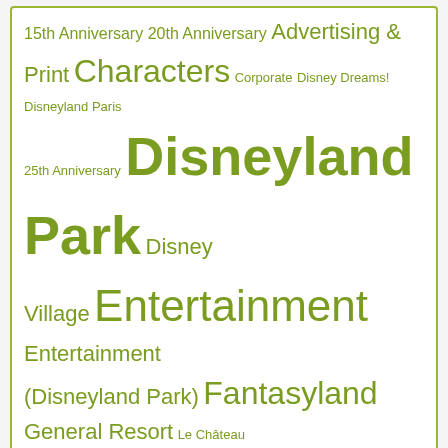15th Anniversary 20th Anniversary Advertising & Print Characters Corporate Disney Dreams! Disneyland Paris 25th Anniversary Disneyland Park Disney Village Entertainment Entertainment (Disneyland Park) Fantasyland General Resort Le Château de la Belle au Bois Dormant Main Street U.S.A. Parades Press Events Ratatouille: The Adventure - L'Aventure Totalement Toquée de Rémy Refurbishments Seasons Shows The Twilight Zone Tower of Terror Toon Studio Walt Disney Studios Park Your Visit
Select a month
Twitter Updates
Stunning drones stole the show at this year's Bastille Day fireworks. Photos and video 👉 https://t.co/7QJkqlQQn0… https://t.co/f95mCueBV9
18 Jul